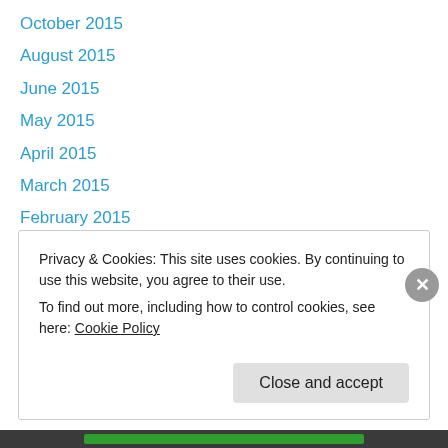October 2015
August 2015
June 2015
May 2015
April 2015
March 2015
February 2015
June 2014
April 2014
March 2014
February 2014
January 2014
December 2013
Privacy & Cookies: This site uses cookies. By continuing to use this website, you agree to their use. To find out more, including how to control cookies, see here: Cookie Policy